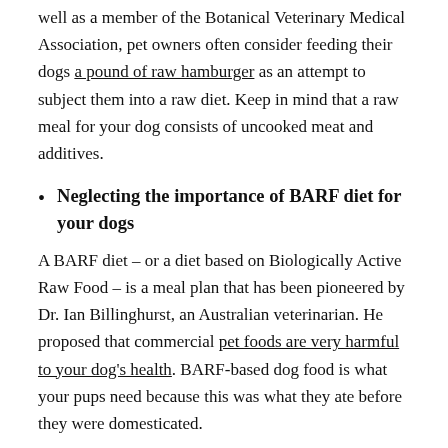well as a member of the Botanical Veterinary Medical Association, pet owners often consider feeding their dogs a pound of raw hamburger as an attempt to subject them into a raw diet. Keep in mind that a raw meal for your dog consists of uncooked meat and additives.
Neglecting the importance of BARF diet for your dogs
A BARF diet – or a diet based on Biologically Active Raw Food – is a meal plan that has been pioneered by Dr. Ian Billinghurst, an Australian veterinarian. He proposed that commercial pet foods are very harmful to your dog's health. BARF-based dog food is what your pups need because this was what they ate before they were domesticated.
Thinking that a raw diet is only about feeding your dogs raw food
This is one of the mistakes that dog owners should be wary of